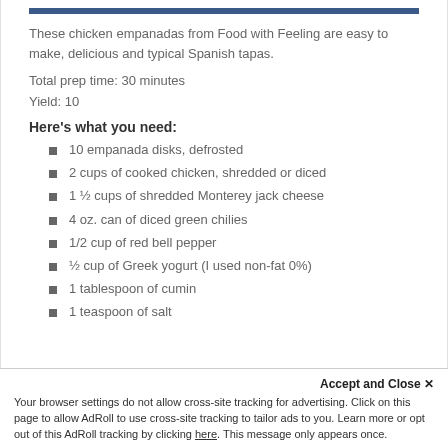These chicken empanadas from Food with Feeling are easy to make, delicious and typical Spanish tapas.
Total prep time: 30 minutes
Yield: 10
Here's what you need:
10 empanada disks, defrosted
2 cups of cooked chicken, shredded or diced
1 ½ cups of shredded Monterey jack cheese
4 oz. can of diced green chilies
1/2 cup of red bell pepper
½ cup of Greek yogurt (I used non-fat 0%)
1 tablespoon of cumin
1 teaspoon of salt
Accept and Close ✕ Your browser settings do not allow cross-site tracking for advertising. Click on this page to allow AdRoll to use cross-site tracking to tailor ads to you. Learn more or opt out of this AdRoll tracking by clicking here. This message only appears once.